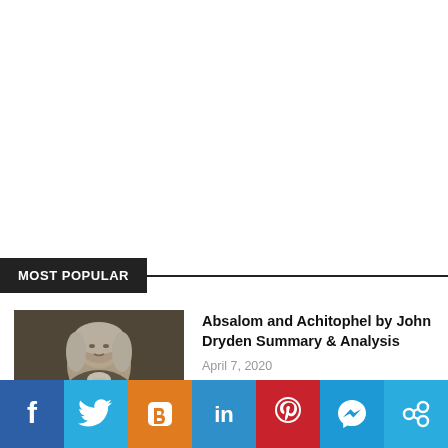MOST POPULAR
[Figure (photo): Portrait painting of John Dryden, a historical figure with white/gray hair wearing period clothing]
Absalom and Achitophel by John Dryden Summary & Analysis
April 7, 2020
[Figure (infographic): Social media sharing bar with icons: Facebook, Twitter, Blogger, LinkedIn, Pinterest, Messenger, Share link]